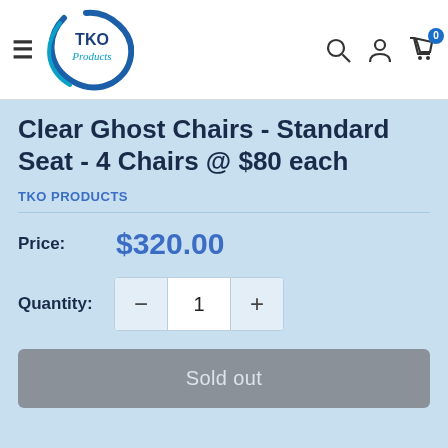[Figure (logo): TKO Products circular logo with blue swirl and teal script]
Clear Ghost Chairs - Standard Seat - 4 Chairs @ $80 each
TKO PRODUCTS
Price: $320.00
Quantity: 1
Sold out